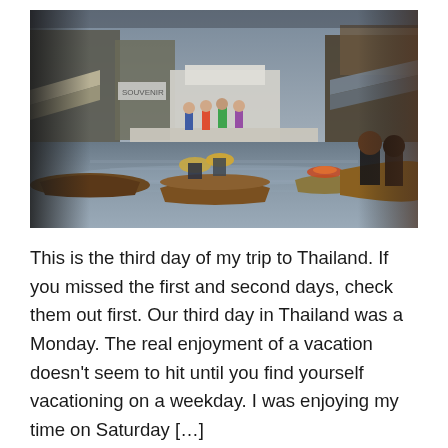[Figure (photo): A floating market in Thailand showing people in wooden boats on a canal waterway. A bridge spans across the canal in the background with tourists standing on it. Market stalls with awnings line the sides. Vendors and tourists navigate the waterway in small boats, some with hats. The scene is busy and colorful.]
This is the third day of my trip to Thailand. If you missed the first and second days, check them out first. Our third day in Thailand was a Monday. The real enjoyment of a vacation doesn't seem to hit until you find yourself vacationing on a weekday. I was enjoying my time on Saturday […]